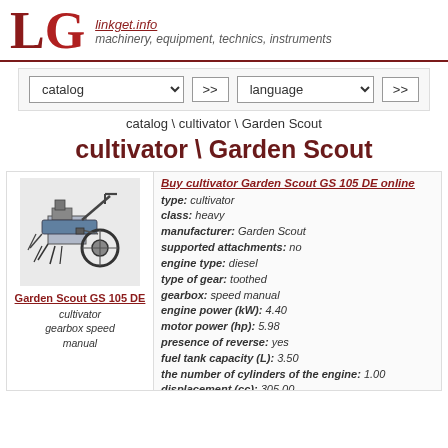LG linkget.info machinery, equipment, technics, instruments
[Figure (screenshot): Navigation bar with catalog dropdown and language dropdown, each with >> button]
catalog \ cultivator \ Garden Scout
cultivator \ Garden Scout
[Figure (photo): Photo of Garden Scout GS 105 DE cultivator walk-behind tractor]
Garden Scout GS 105 DE
cultivator gearbox speed manual
Buy cultivator Garden Scout GS 105 DE online
type: cultivator
class: heavy
manufacturer: Garden Scout
supported attachments: no
engine type: diesel
type of gear: toothed
gearbox: speed manual
engine power (kW): 4.40
motor power (hp): 5.98
presence of reverse: yes
fuel tank capacity (L): 3.50
the number of cylinders of the engine: 1.00
displacement (cc): 305.00
number of gears (forward): 2.00
number of gears (back): 1.00
number of cycles: four-cycle
width tillage, min (cm): 75.00
width tillage, max (cm): 105.00